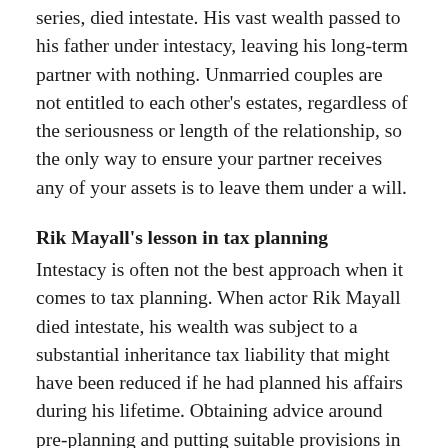series, died intestate. His vast wealth passed to his father under intestacy, leaving his long-term partner with nothing. Unmarried couples are not entitled to each other's estates, regardless of the seriousness or length of the relationship, so the only way to ensure your partner receives any of your assets is to leave them under a will.
Rik Mayall's lesson in tax planning
Intestacy is often not the best approach when it comes to tax planning. When actor Rik Mayall died intestate, his wealth was subject to a substantial inheritance tax liability that might have been reduced if he had planned his affairs during his lifetime. Obtaining advice around pre-planning and putting suitable provisions in place can help you to ensure that your estate benefits from available tax savings in the best way possible. One of the most important ways